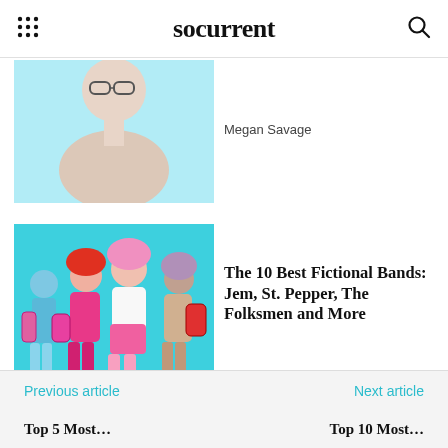socurrent
[Figure (photo): Partial view of a woman with sunglasses on a light blue background]
Megan Savage
[Figure (illustration): Colorful illustration of Jem and the Holograms fictional band characters on cyan background]
The 10 Best Fictional Bands: Jem, St. Pepper, The Folksmen and More
Clement Derrida
Previous article | Next article